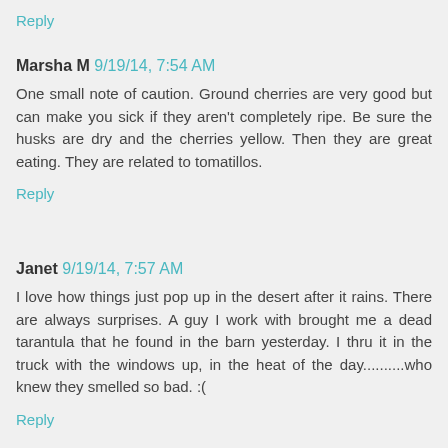Reply
Marsha M  9/19/14, 7:54 AM
One small note of caution. Ground cherries are very good but can make you sick if they aren't completely ripe. Be sure the husks are dry and the cherries yellow. Then they are great eating. They are related to tomatillos.
Reply
Janet  9/19/14, 7:57 AM
I love how things just pop up in the desert after it rains. There are always surprises. A guy I work with brought me a dead tarantula that he found in the barn yesterday. I thru it in the truck with the windows up, in the heat of the day..........who knew they smelled so bad. :(
Reply